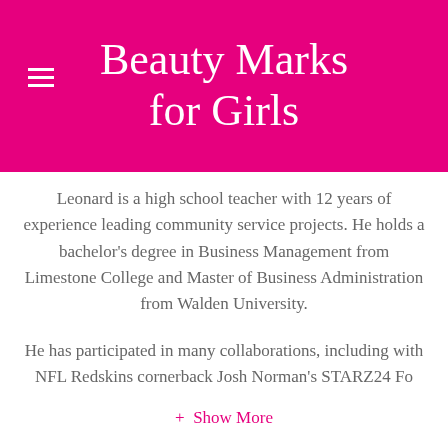Beauty Marks for Girls
Leonard is a high school teacher with 12 years of experience leading community service projects. He holds a bachelor's degree in Business Management from Limestone College and Master of Business Administration from Walden University.
He has participated in many collaborations, including with NFL Redskins cornerback Josh Norman's STARZ24 Fo
+ Show More